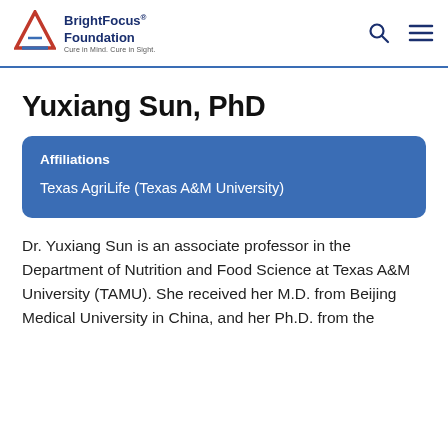BrightFocus Foundation — Cure in Mind. Cure in Sight.
Yuxiang Sun, PhD
Affiliations
Texas AgriLife (Texas A&M University)
Dr. Yuxiang Sun is an associate professor in the Department of Nutrition and Food Science at Texas A&M University (TAMU). She received her M.D. from Beijing Medical University in China, and her Ph.D. from the